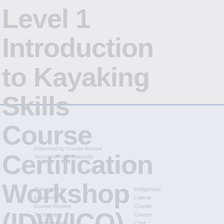Level 1 Introduction to Kayaking Skills Course Certification Workshop (IDW/ICQ)
Presented by Course Review Technician Internationally
Indigenous Lateral Course Counts Course